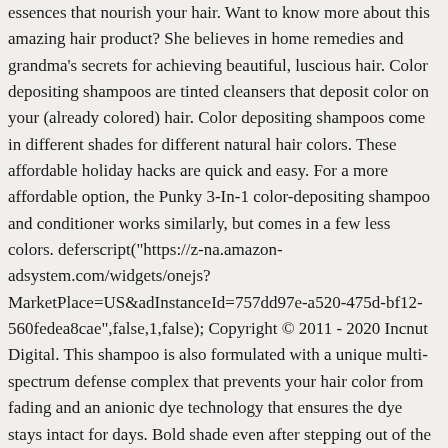essences that nourish your hair. Want to know more about this amazing hair product? She believes in home remedies and grandma's secrets for achieving beautiful, luscious hair. Color depositing shampoos are tinted cleansers that deposit color on your (already colored) hair. Color depositing shampoos come in different shades for different natural hair colors. These affordable holiday hacks are quick and easy. For a more affordable option, the Punky 3-In-1 color-depositing shampoo and conditioner works similarly, but comes in a few less colors. deferscript("https://z-na.amazon-adsystem.com/widgets/onejs?MarketPlace=US&adInstanceId=757dd97e-a520-475d-bf12-560fedea8cae",false,1,false); Copyright © 2011 - 2020 Incnut Digital. This shampoo is also formulated with a unique multi-spectrum defense complex that prevents your hair color from fading and an anionic dye technology that ensures the dye stays intact for days. Bold shade even after stepping out of the hair to help strengthen, repair and protect the vibrancy of hair. Strengthen, repair and protect the vibrancy of your hair color, but